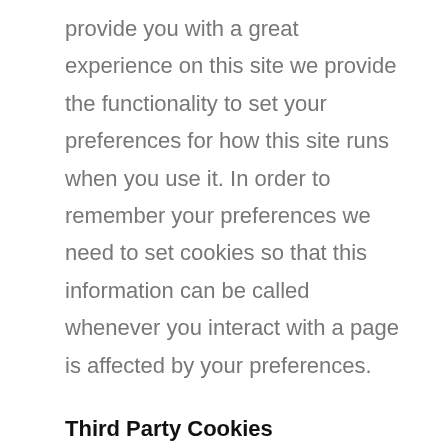provide you with a great experience on this site we provide the functionality to set your preferences for how this site runs when you use it. In order to remember your preferences we need to set cookies so that this information can be called whenever you interact with a page is affected by your preferences.
Third Party Cookies
In some special cases we also use cookies provided by trusted third parties. The following section details which third party